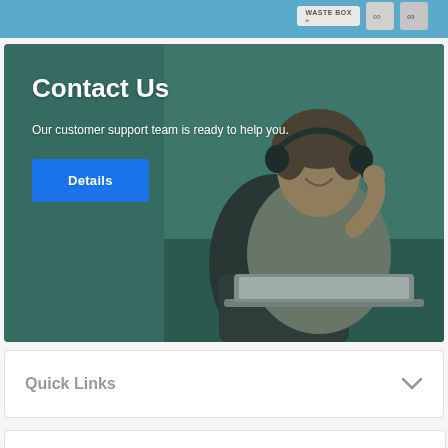[Figure (screenshot): Top blue banner with product box imagery on the right showing 'WASTE BOX' text and infinity symbol]
[Figure (photo): Contact Us section with background photo of a woman wearing a headset and working on a laptop in front of a teal/green background. Overlaid text reads 'Contact Us', 'Our customer support team is ready to help you.' and a blue 'Details' button.]
Contact Us
Our customer support team is ready to help you.
Details
Quick Links